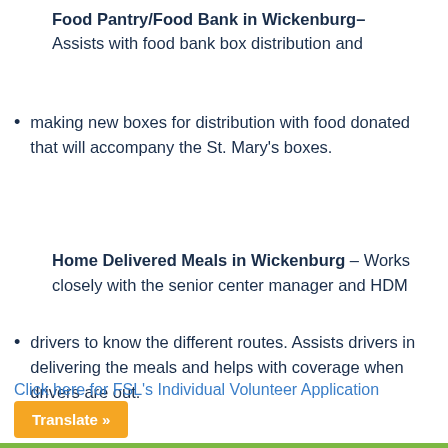Food Pantry/Food Bank in Wickenburg– Assists with food bank box distribution and
making new boxes for distribution with food donated that will accompany the St. Mary's boxes.
Home Delivered Meals in Wickenburg – Works closely with the senior center manager and HDM
drivers to know the different routes. Assists drivers in delivering the meals and helps with coverage when drivers are out.
Click here for FSL's Individual Volunteer Application
Translate »